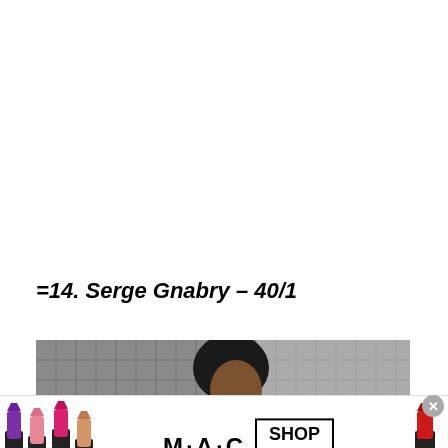=14. Serge Gnabry – 40/1
[Figure (photo): Photo of Serge Gnabry, a footballer with an afro hairstyle, profile view, with a blurred net/fence background]
[Figure (illustration): MAC cosmetics advertisement showing lipsticks on left and right, MAC logo in center, SHOP NOW button, and a close (x) button]